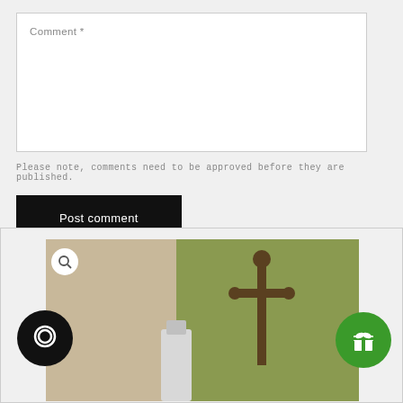Comment *
Please note, comments need to be approved before they are published.
Post comment
[Figure (photo): Product photo showing a small bottle and a religious crucifix cross against an olive green and beige blurred background. A magnify icon (search/zoom) appears in the top-left corner of the image, a chat bubble icon (black circle) in the bottom-left, and a green gift icon in the bottom-right.]